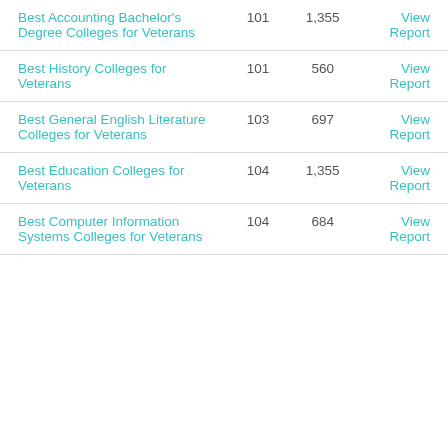| Report Name | Ranked | Schools | Action |
| --- | --- | --- | --- |
| Best Accounting Bachelor's Degree Colleges for Veterans | 101 | 1,355 | View Report |
| Best History Colleges for Veterans | 101 | 560 | View Report |
| Best General English Literature Colleges for Veterans | 103 | 697 | View Report |
| Best Education Colleges for Veterans | 104 | 1,355 | View Report |
| Best Computer Information Systems Colleges for Veterans | 104 | 684 | View Report |